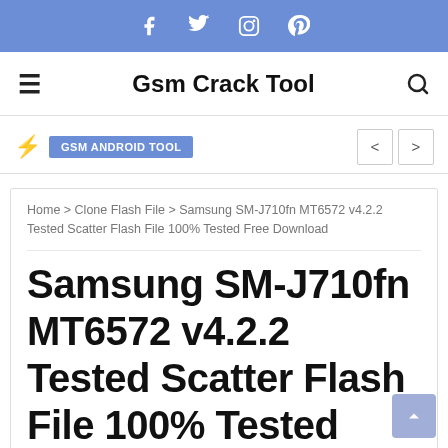Social icons: Facebook, Twitter, Instagram, Pinterest
Gsm Crack Tool
GSM ANDROID TOOL
Home > Clone Flash File > Samsung SM-J710fn MT6572 v4.2.2 Tested Scatter Flash File 100% Tested Free Download
Samsung SM-J710fn MT6572 v4.2.2 Tested Scatter Flash File 100% Tested Free Download
Raja Mobile  September 30, 2018